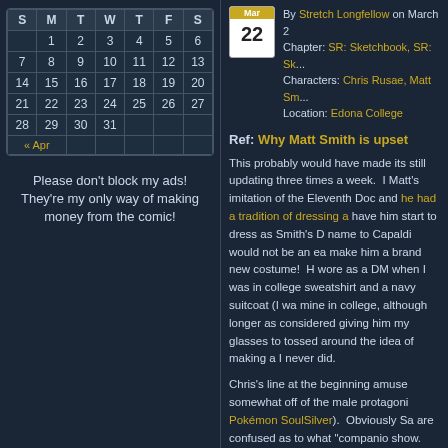| S | M | T | W | T | F | S |
| --- | --- | --- | --- | --- | --- | --- |
|  | 1 | 2 | 3 | 4 | 5 | 6 |
| 7 | 8 | 9 | 10 | 11 | 12 | 13 |
| 14 | 15 | 16 | 17 | 18 | 19 | 20 |
| 21 | 22 | 23 | 24 | 25 | 26 | 27 |
| 28 | 29 | 30 | 31 |  |  |  |
| « Apr |  |  |  |  |  |  |
Please don't block my ads! They're my only way of making money from the comic!
By Stretch Longfellow on March 22
Chapter: SR: Sketchbook, SR: Sk...
Characters: Chris Rusae, Matt Sm...
Location: Edona College
Ref: Why Matt Smith is upset
This probably would have made its still updating three times a week. I Matt's imitation of the Eleventh Doc and he had a tradition of dressing a have him start to dress as Smith's D name to Capaldi would not be an ea make him a brand new costume! H wore as a DM when I was in college sweatshirt and a navy suitcoat (I wa mine in college, although longer as considered giving him my glasses to tossed around the idea of making a I never did.
Chris's line at the beginning amuse somewhat off of the male protagoni Pokémon SoulSilver). Obviously Sa are confused as to what "companio show.